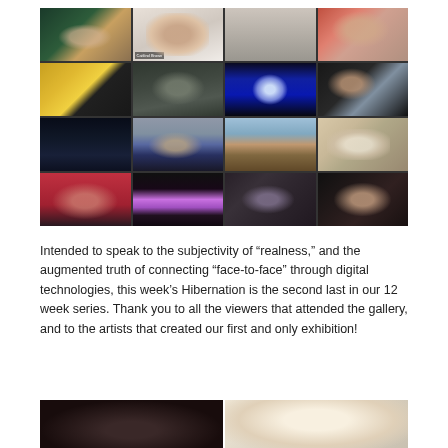[Figure (photo): A 4x4 grid of video call screenshots showing various participants in a virtual meeting or gallery event, including people at home, nature backgrounds, a dog, and decorative items.]
Intended to speak to the subjectivity of “realness,” and the augmented truth of connecting “face-to-face” through digital technologies, this week’s Hibernation is the second last in our 12 week series. Thank you to all the viewers that attended the gallery, and to the artists that created our first and only exhibition!
[Figure (photo): Two side-by-side photographs at the bottom of the page, one dark (left) and one lighter/warm-toned (right), partially cut off.]